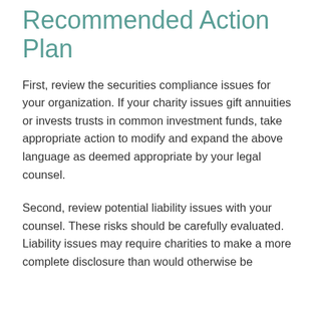Recommended Action Plan
First, review the securities compliance issues for your organization. If your charity issues gift annuities or invests trusts in common investment funds, take appropriate action to modify and expand the above language as deemed appropriate by your legal counsel.
Second, review potential liability issues with your counsel. These risks should be carefully evaluated. Liability issues may require charities to make a more complete disclosure than would otherwise be